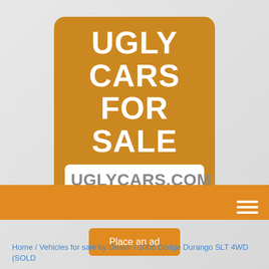[Figure (logo): Ugly Cars For Sale logo sign — orange rounded rectangle containing bold white text 'UGLY CARS FOR SALE' and a white box with gray text 'UGLYCARS.COM']
[Figure (other): Orange rounded button labeled 'Place an ad']
[Figure (other): Orange navigation bar with hamburger menu icon (three white lines) at far right]
Home / Vehicles for sale by Dealer / 2006 Dodge Durango SLT 4WD (SOLD